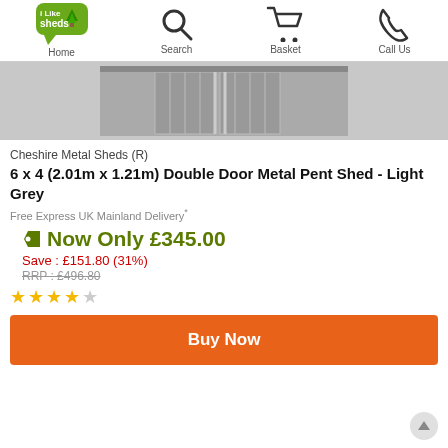Home | Search | Basket | Call Us
[Figure (photo): Metal pent shed with double doors, light grey colour, front view showing two door panels]
Cheshire Metal Sheds (R)
6 x 4 (2.01m x 1.21m) Double Door Metal Pent Shed - Light Grey
Free Express UK Mainland Delivery*
Now Only £345.00
Save : £151.80 (31%)
RRP : £496.80
★★★★☆ (4 out of 5 stars)
Buy Now